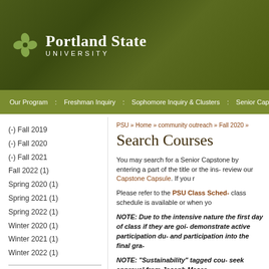[Figure (logo): Portland State University logo with green clover/knot icon and PSU wordmark in white on dark green background]
Our Program : Freshman Inquiry : Sophomore Inquiry & Clusters : Senior Cap-
PSU » Home » community outreach » Fall 2020 »
Search Courses
(-) Fall 2019
(-) Fall 2020
(-) Fall 2021
Fall 2022 (1)
Spring 2020 (1)
Spring 2021 (1)
Spring 2022 (1)
Winter 2020 (1)
Winter 2021 (1)
Winter 2022 (1)
You may search for a Senior Capstone by entering a part of the title or the ins- review our Capstone Capsule. If you r
Please refer to the PSU Class Sched- class schedule is available or when yo
NOTE:  Due to the intensive nature the first day of class if they are goi- demonstrate active participation du- and participation into the final gra-
NOTE:  "Sustainability" tagged cou- seek approval from Joseph Maser,